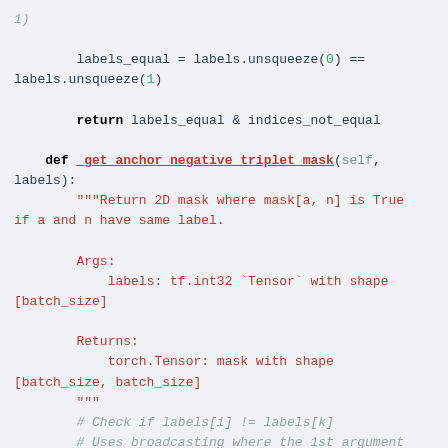Code snippet showing Python methods: _get_anchor_negative_triplet_mask and _batch_hard_triplet_loss with labels_equal computation and return statements